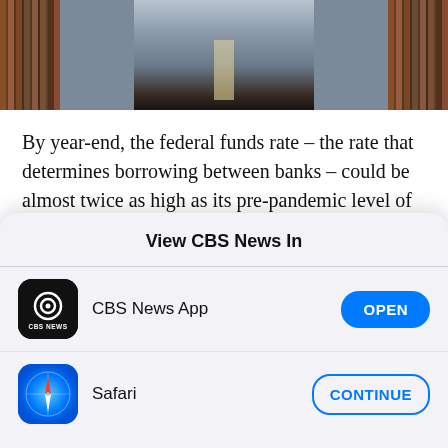[Figure (photo): Partial photo of a man in a suit and tie in front of a bookshelf, cropped at the shoulders/head level.]
By year-end, the federal funds rate – the rate that determines borrowing between banks – could be almost twice as high as its pre-pandemic level of about 2%, according to forecasts.
"It was just a few weeks ago that investors were
View CBS News In
CBS News App
Safari